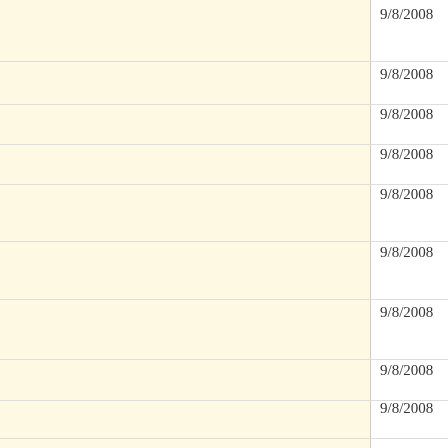9/8/2008 | UMB Appoints a Distribution S... Director
9/8/2008 | Allianz and Pimco Tap a Transf...
9/8/2008 | Brokers, ARS Fill Special WSJ...
9/8/2008 | Lauricella Smiles On Open-End...
9/8/2008 | Matrix Investment Chief Gains... Space
9/8/2008 | BGI Hires a Morgan Stanley Ve... ETF Post
9/8/2008 | Which Fund Firms Bet the Mos... Freddie?
9/8/2008 | Mutual Funds and ETFs Unite!
9/8/2008 | Evergreen Scraps a Fund Line
9/5/2008 | Sick of surfing? Check Out Jobs... America
9/5/2008 | Aberdeen to Add to U.S. Fund L...
9/5/2008 | Pioneer Hires Ex-Hedgie
9/5/2008 | Industry Trade Group Comes O...